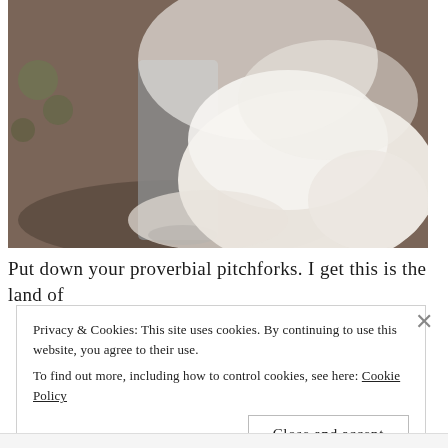[Figure (photo): Wedding photo showing bride in white lace dress and veil, with groom in grey trousers, outdoors on natural ground.]
Put down your proverbial pitchforks. I get this is the land of
Privacy & Cookies: This site uses cookies. By continuing to use this website, you agree to their use. To find out more, including how to control cookies, see here: Cookie Policy
Close and accept